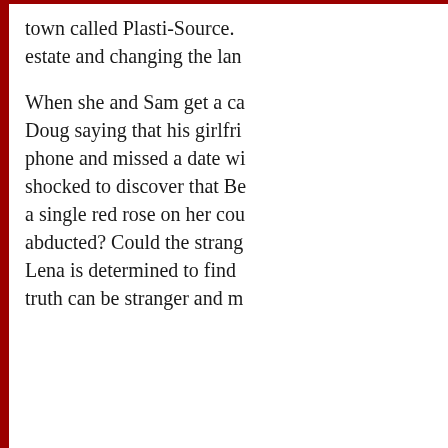town called Plasti-Source. estate and changing the lan...
When she and Sam get a ca... Doug saying that his girlfri... phone and missed a date wi... shocked to discover that Be... a single red rose on her cou... abducted? Could the strang... Lena is determined to find ... truth can be stranger and m...
[Figure (illustration): Book cover image for 'Death with a Dark Red Rose' - A Realtor's Apprentice Mystery, showing a house exterior with text in dark red.]